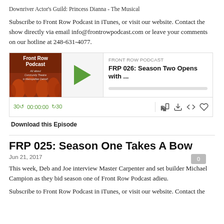Downriver Actor's Guild: Princess Dianna - The Musical
Subscribe to Front Row Podcast in iTunes, or visit our website. Contact the show directly via email info@frontrowpodcast.com or leave your comments on our hotline at 248-631-4077.
[Figure (other): Front Row Podcast audio player widget showing podcast artwork on the left (red/orange theater seats with 'Front Row Podcast - All about Community Theatre in Metropolitan Detroit!' text), a large green play button, podcast name 'FRONT ROW PODCAST', episode title 'FRP 026: Season Two Opens with ...', a progress bar, and playback controls at the bottom including 30-second back, 00:00:00 time, 30-second forward, and icons for cast, download, embed, and subscribe.]
Download this Episode
FRP 025: Season One Takes A Bow
Jun 21, 2017
This week, Deb and Joe interview Master Carpenter and set builder Michael Campion as they bid season one of Front Row Podcast adieu.
Subscribe to Front Row Podcast in iTunes, or visit our website. Contact the